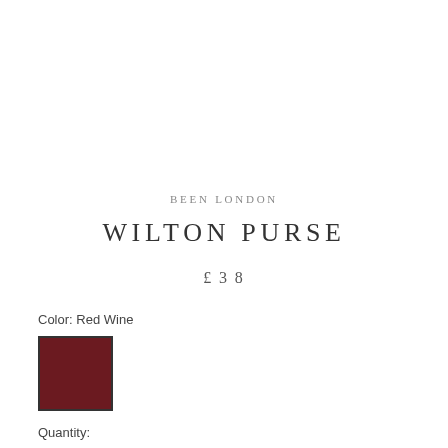BEEN LONDON
WILTON PURSE
£38
Color: Red Wine
[Figure (other): A dark red wine colored square swatch with a dark border representing the selected color option.]
Quantity: